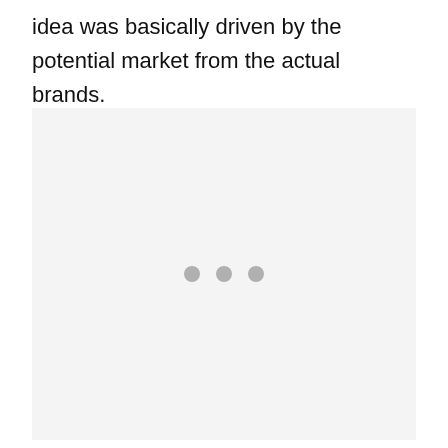idea was basically driven by the potential market from the actual brands.
[Figure (other): A light gray placeholder box with three small gray dots centered in the lower-middle area, indicating a loading or empty image state.]